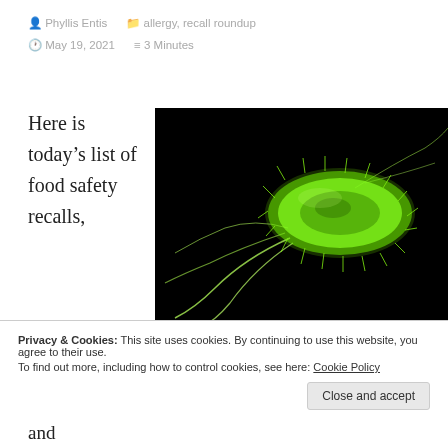Phyllis Entis  allergy, recall roundup  May 19, 2021  3 Minutes
Here is today’s list of food safety recalls,
[Figure (photo): Digital illustration of a green glowing bacterium on a black background, showing flagella extending from a rod-shaped body]
Privacy & Cookies: This site uses cookies. By continuing to use this website, you agree to their use.
To find out more, including how to control cookies, see here: Cookie Policy
that contain detailed information for each recall and